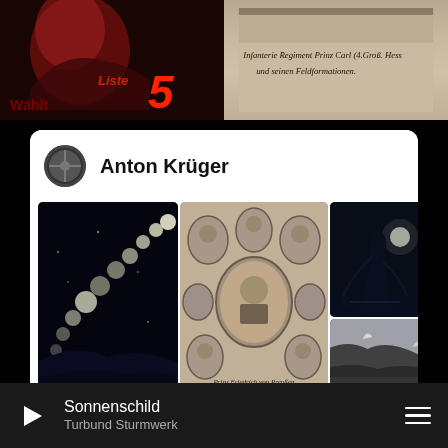[Figure (photo): Propaganda poster with 'Liste 5' in red, figure on horseback]
[Figure (photo): Old document with Gothic/Fraktur text about Regiment Prinz Carl]
Anton Krüger
[Figure (photo): Lunar eclipse sequence against dark sky]
[Figure (photo): Sepia portrait collage of military figures]
[Figure (photo): Dark silhouette figure in moonlight]
[Figure (photo): Mountain landscape in grayscale]
[Figure (photo): Winter tree against pale sky]
[Figure (photo): Dark forest with water reflection]
Sonnenschild
Turbund Sturmwerk